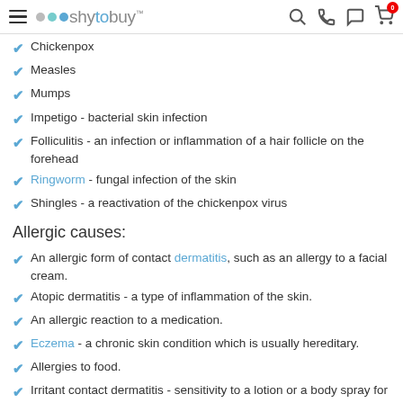shytobuy
Chickenpox
Measles
Mumps
Impetigo - bacterial skin infection
Folliculitis - an infection or inflammation of a hair follicle on the forehead
Ringworm - fungal infection of the skin
Shingles - a reactivation of the chickenpox virus
Allergic causes:
An allergic form of contact dermatitis, such as an allergy to a facial cream.
Atopic dermatitis - a type of inflammation of the skin.
An allergic reaction to a medication.
Eczema - a chronic skin condition which is usually hereditary.
Allergies to food.
Irritant contact dermatitis - sensitivity to a lotion or a body spray for instance.